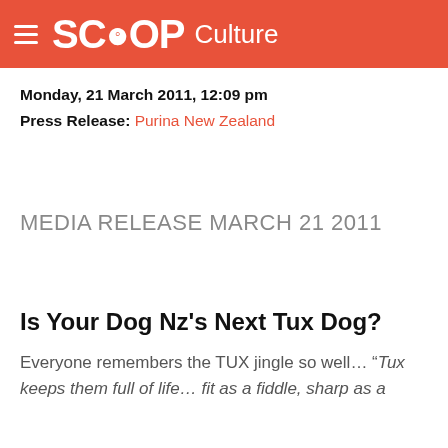SCOOP Culture
Monday, 21 March 2011, 12:09 pm
Press Release: Purina New Zealand
MEDIA RELEASE MARCH 21 2011
Is Your Dog Nz's Next Tux Dog?
Everyone remembers the TUX jingle so well… “Tux keeps them full of life… fit as a fiddle, sharp as a